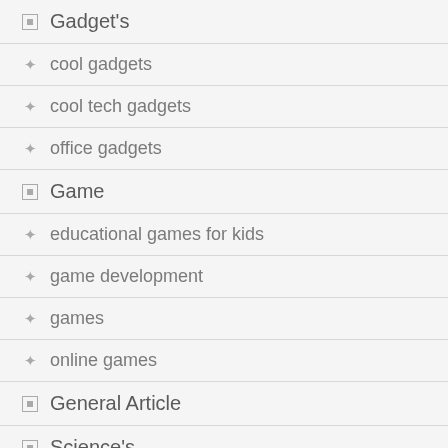Gadget's
cool gadgets
cool tech gadgets
office gadgets
Game
educational games for kids
game development
games
online games
General Article
Science's